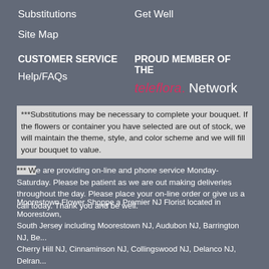Substitutions
Get Well
Site Map
CUSTOMER SERVICE
PROUD MEMBER OF THE
Help/FAQs
[Figure (logo): teleflora. Network logo in pink and white]
***Substitutions may be necessary to complete your bouquet. If the flowers or container you have selected are out of stock, we will maintain the theme, style, and color scheme and we will fill your bouquet to value.
*** We are providing on-line and phone service Monday-Saturday. Please be patient as we are out making deliveries throughout the day. Please place your on-line order or give us a call today. Thank you and be well.
Moorestown Flower Shoppe a Premier NJ Florist located in Moorestown, South Jersey including Moorestown NJ, Audubon NJ, Barrington NJ, Be... Cherry Hill NJ, Cinnaminson NJ, Collingswood NJ, Delanco NJ, Delran...